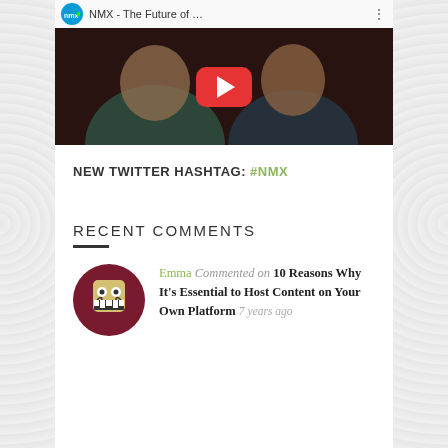[Figure (screenshot): YouTube video thumbnail showing NMX - The Future of... with audience members visible and a red play button in center]
NEW TWITTER HASHTAG: #NMX
RECENT COMMENTS
Emma Commented on 10 Reasons Why It's Essential to Host Content on Your Own Platform 7 years ago